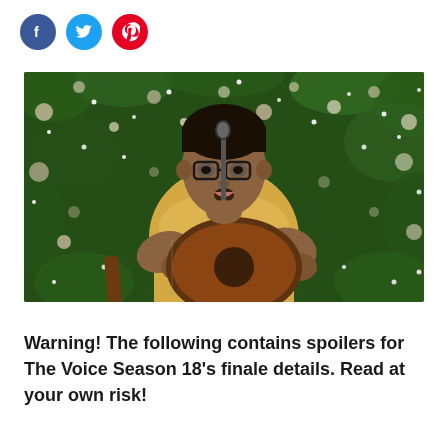[Figure (infographic): Three social media share icons: Facebook (blue circle with f), Twitter (blue circle with bird), Pinterest (red circle with P)]
[Figure (photo): A young man wearing glasses and a yellow short-sleeve shirt, singing into a microphone while playing an acoustic guitar. The background shows green foliage with bokeh string lights, giving a festive atmosphere.]
Warning! The following contains spoilers for The Voice Season 18's finale details. Read at your own risk!